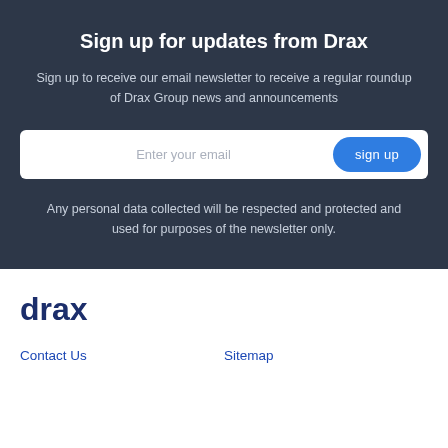Sign up for updates from Drax
Sign up to receive our email newsletter to receive a regular roundup of Drax Group news and announcements
Enter your email
sign up
Any personal data collected will be respected and protected and used for purposes of the newsletter only.
drax
Contact Us
Sitemap